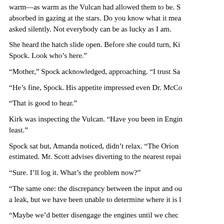warm—as warm as the Vulcan had allowed them to be. She absorbed in gazing at the stars. Do you know what it means, she asked silently. Not everybody can be as lucky as I am.
She heard the hatch slide open. Before she could turn, Kirk said, "Spock. Look who's here."
"Mother," Spock acknowledged, approaching. "I trust Sarak—"
"He's fine, Spock. His appetite impressed even Dr. McCoy."
"That is good to hear."
Kirk was inspecting the Vulcan. "Have you been in Engineering at least."
Spock sat but, Amanda noticed, didn't relax. "The Orion vessel estimated. Mr. Scott advises diverting to the nearest repair—"
"Sure. I'll log it. What's the problem now?"
"The same one: the discrepancy between the input and output a leak, but we have been unable to determine where it is le—"
"Maybe we'd better disengage the engines until we check—"